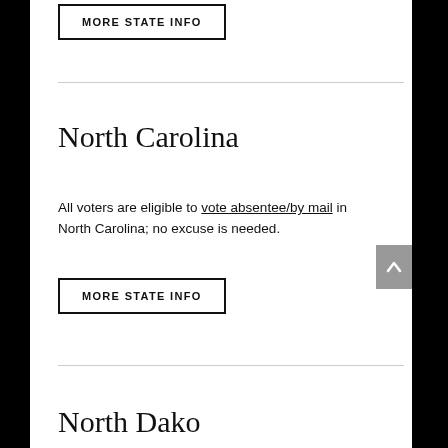MORE STATE INFO
North Carolina
All voters are eligible to vote absentee/by mail in North Carolina; no excuse is needed.
MORE STATE INFO
North Dako...